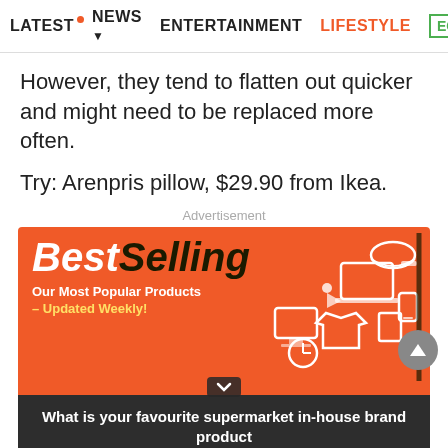LATEST · NEWS · ENTERTAINMENT · LIFESTYLE · EC>
However, they tend to flatten out quicker and might need to be replaced more often.
Try: Arenpris pillow, $29.90 from Ikea.
Advertisement
[Figure (other): BestSelling advertisement banner — orange background with white 'Best' italic text and dark 'Selling' text, white product icons (laptop, cap, phone, tablet, clothing, clock), tagline 'Our Most Popular Products – Updated Weekly!']
What is your favourite supermarket in-house brand product
Reply